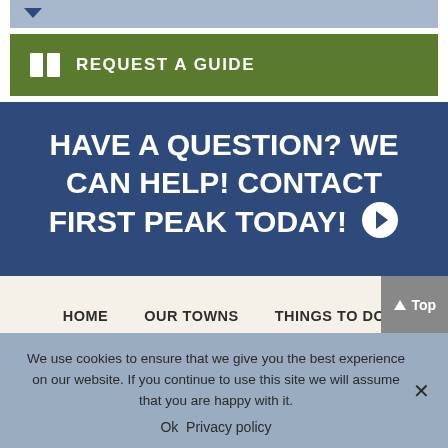[Figure (screenshot): Top navigation dropdown bar with light blue background and down arrow]
[Figure (screenshot): Green button bar with book icon and text REQUEST A GUIDE]
HAVE A QUESTION? WE CAN HELP! CONTACT FIRST PEAK TODAY!
HOME   OUR TOWNS   THINGS TO DO   EAT & SHOP   EVENTS CALENDAR
We use cookies to ensure that we give you the best experience on our website. If you continue to use this site we will assume that you are happy with it.
Ok   Privacy policy